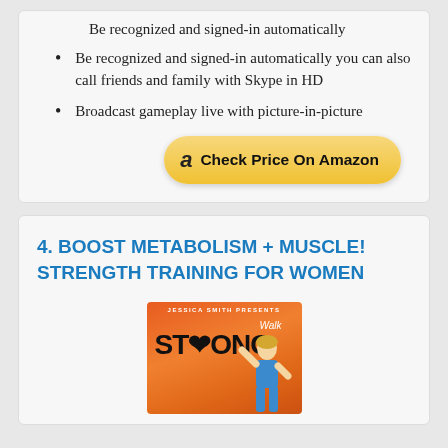Be recognized and signed-in automatically
Be recognized and signed-in automatically you can also call friends and family with Skype in HD
Broadcast gameplay live with picture-in-picture
[Figure (other): Check Price On Amazon button with Amazon logo]
4. BOOST METABOLISM + MUSCLE! STRENGTH TRAINING FOR WOMEN
[Figure (photo): Product image - Walk Strong DVD by Jessica Smith]